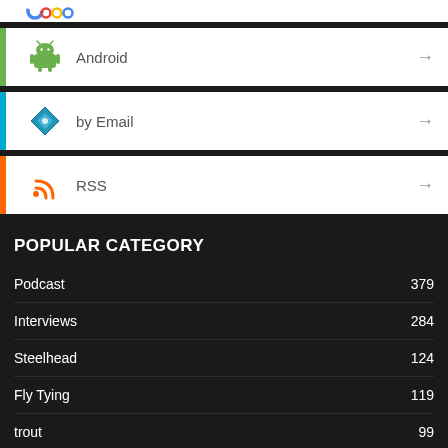[Figure (logo): Partial Google logo at top]
Android →
by Email →
RSS →
POPULAR CATEGORY
Podcast 379
Interviews 284
Steelhead 124
Fly Tying 119
trout 99
gear 66